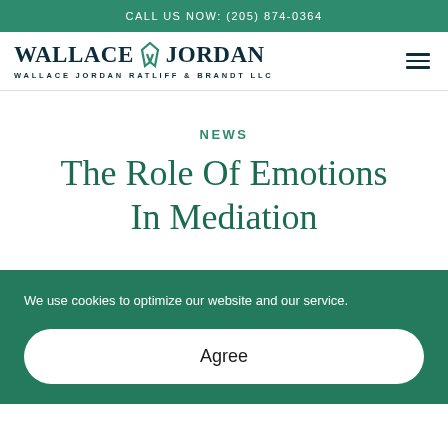CALL US NOW: (205) 874-0364
[Figure (logo): Wallace Jordan Ratliff & Brandt LLC law firm logo with shield icon]
NEWS
The Role Of Emotions In Mediation
We use cookies to optimize our website and our service.
Agree